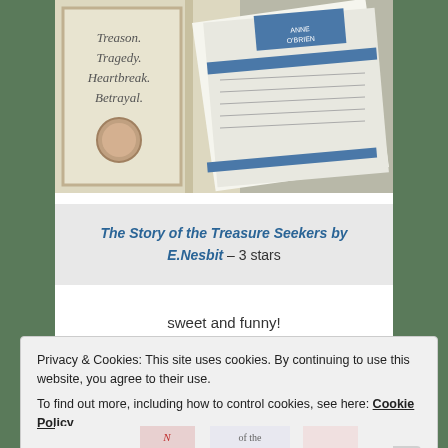[Figure (photo): Photo of a book with text 'Treason. Tragedy. Heartbreak. Betrayal.' on the cover, alongside papers/documents, on a patterned surface]
The Story of the Treasure Seekers by E.Nesbit – 3 stars
sweet and funny!
Privacy & Cookies: This site uses cookies. By continuing to use this website, you agree to their use.
To find out more, including how to control cookies, see here: Cookie Policy
Close and accept